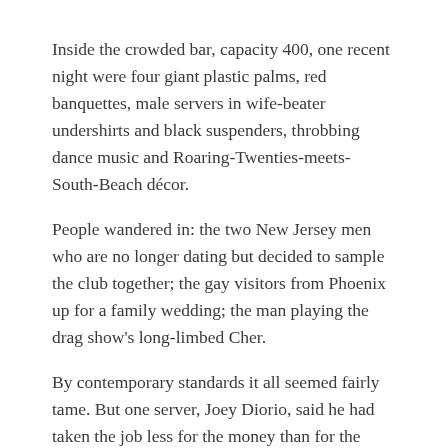Inside the crowded bar, capacity 400, one recent night were four giant plastic palms, red banquettes, male servers in wife-beater undershirts and black suspenders, throbbing dance music and Roaring-Twenties-meets-South-Beach décor.
People wandered in: the two New Jersey men who are no longer dating but decided to sample the club together; the gay visitors from Phoenix up for a family wedding; the man playing the drag show's long-limbed Cher.
By contemporary standards it all seemed fairly tame. But one server, Joey Diorio, said he had taken the job less for the money than for the chance to be part of something long overdue.
He described the casino almost as New Yorkers described the legalization of gay marriage last month.